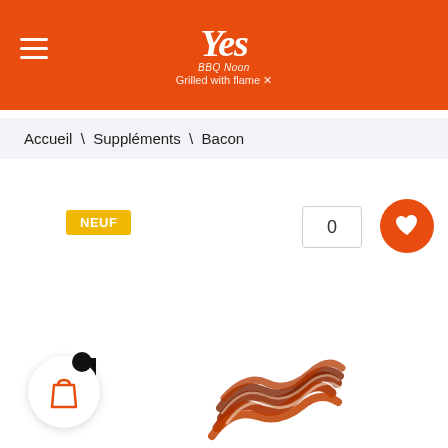Yes BBQ Noon - Grilled with flame
Accueil \ Suppléments \ Bacon
NEUF
[Figure (photo): Crispy bacon strips piled together, shown as a product photo on a white background]
[Figure (illustration): Shopping cart icon with a small black notification dot, orange cart icon on white circular button]